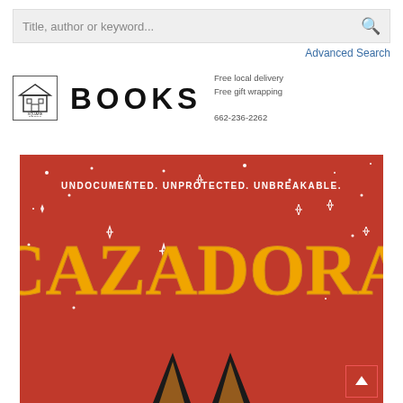Title, author or keyword...
Advanced Search
[Figure (logo): Square Books logo with house/building icon and the word BOOKS in bold letters, with text: Free local delivery, Free gift wrapping, 662-236-2262]
[Figure (photo): Book cover for CAZADORA - red background with white stars, large yellow/gold ornate text reading CAZADORA, tagline UNDOCUMENTED. UNPROTECTED. UNBREAKABLE., and the top of a black fox with orange-tipped ears at the bottom]